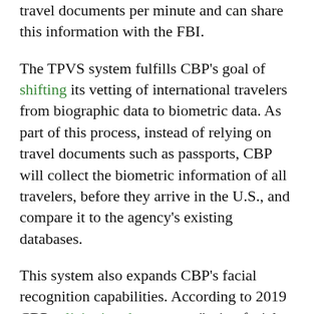travel documents per minute and can share this information with the FBI.
The TPVS system fulfills CBP's goal of shifting its vetting of international travelers from biographic data to biometric data. As part of this process, instead of relying on travel documents such as passports, CBP will collect the biometric information of all travelers, before they arrive in the U.S., and compare it to the agency's existing databases.
This system also expands CBP's facial recognition capabilities. According to 2019 CBP solicitation documents, "using facial matching as the primary biometric verification modality provides a previously unavailable method to verify and facilitate travel for almost everyone, not just